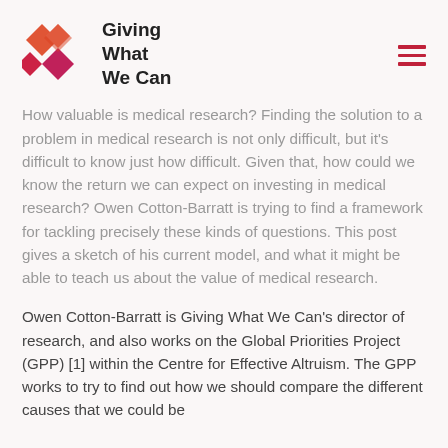Giving What We Can
How valuable is medical research? Finding the solution to a problem in medical research is not only difficult, but it's difficult to know just how difficult. Given that, how could we know the return we can expect on investing in medical research? Owen Cotton-Barratt is trying to find a framework for tackling precisely these kinds of questions. This post gives a sketch of his current model, and what it might be able to teach us about the value of medical research.
Owen Cotton-Barratt is Giving What We Can's director of research, and also works on the Global Priorities Project (GPP) [1] within the Centre for Effective Altruism. The GPP works to try to find out how we should compare the different causes that we could be